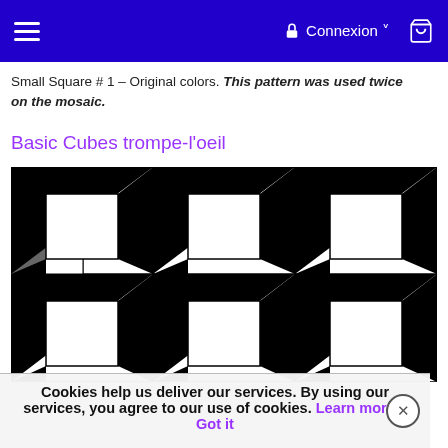Connexion
Small Square # 1 – Original colors. This pattern was used twice on the mosaic.
Basic Cubes trompe-l'oeil
[Figure (illustration): Black and white trompe-l'oeil cube pattern arranged in a 3x2 grid. Each cell shows a 3D cube illusion created with black triangles and white squares forming optical cubes.]
Cookies help us deliver our services. By using our services, you agree to our use of cookies. Learn more  Got it